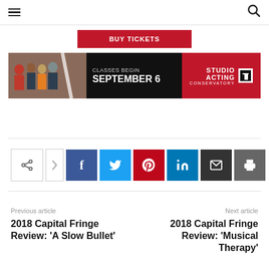Navigation header with hamburger menu and search icon
[Figure (other): Red 'BUY TICKETS' button/banner]
[Figure (other): Studio Acting Conservatory advertisement banner: Classes Begin September 6]
[Figure (other): Social sharing bar with share, Facebook, Twitter, Pinterest, LinkedIn, Email, Print buttons]
Previous article
Next article
2018 Capital Fringe Review: 'A Slow Bullet'
2018 Capital Fringe Review: 'Musical Therapy'